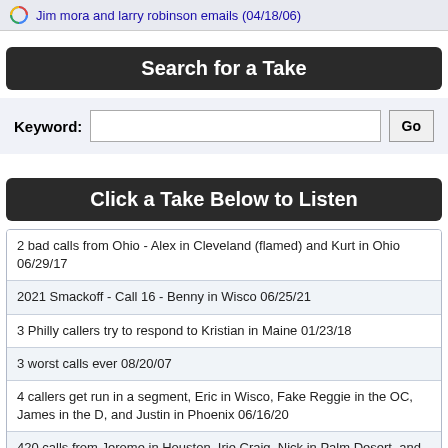Jim mora and larry robinson emails (04/18/06)
Search for a Take
Keyword: [input] Go
Click a Take Below to Listen
2 bad calls from Ohio - Alex in Cleveland (flamed) and Kurt in Ohio 06/29/17
2021 Smackoff - Call 16 - Benny in Wisco 06/25/21
3 Philly callers try to respond to Kristian in Maine 01/23/18
3 worst calls ever 08/20/07
4 callers get run in a segment, Eric in Wisco, Fake Reggie in the OC, James in the D, and Justin in Phoenix 06/16/20
420 calls from Jerome in Houston, Irie Craig, Nick in Palm Desert, and Fabian in LA 04/20/21
420 calls from Ray in Idaho, Cameron in PDX, and Stoney Tony in Colorado Springs 04/20/20
420 Day - Dane in Kimberly reset, Matt in LA thinks the crew smokes during breaks 04/20/16